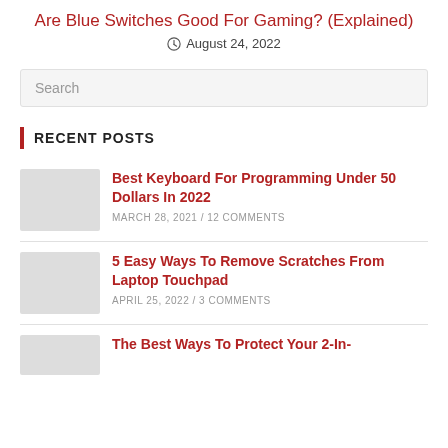Are Blue Switches Good For Gaming? (Explained)
August 24, 2022
Search
RECENT POSTS
Best Keyboard For Programming Under 50 Dollars In 2022
MARCH 28, 2021 / 12 COMMENTS
5 Easy Ways To Remove Scratches From Laptop Touchpad
APRIL 25, 2022 / 3 COMMENTS
The Best Ways To Protect Your 2-In-